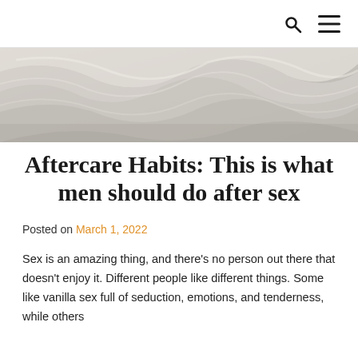[Search icon] [Menu icon]
[Figure (photo): Close-up photograph of crumpled white bed sheets/linen fabric with soft shadows and textures.]
Aftercare Habits: This is what men should do after sex
Posted on March 1, 2022
Sex is an amazing thing, and there’s no person out there that doesn’t enjoy it. Different people like different things. Some like vanilla sex full of seduction, emotions, and tenderness, while others